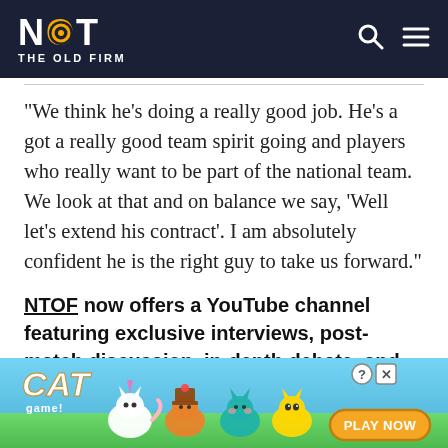NOT THE OLD FIRM
“We think he’s doing a really good job. He’s a got a really good team spirit going and players who really want to be part of the national team. We look at that and on balance we say, ‘Well let’s extend his contract’. I am absolutely confident he is the right guy to take us forward.”
NTOF now offers a YouTube channel featuring exclusive interviews, post-match discussion, in-depth debate, and much more – LIKE and
[Figure (screenshot): Cat Game advertisement banner with cartoon cats and Play Now button]